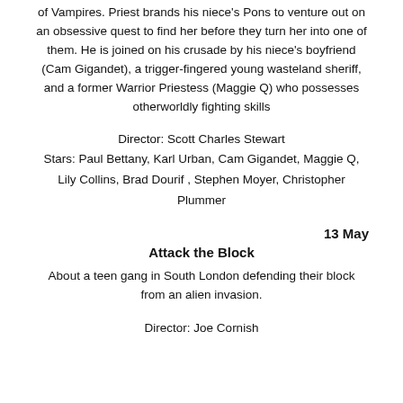of Vampires. Priest brands his niece's Pons to venture out on an obsessive quest to find her before they turn her into one of them. He is joined on his crusade by his niece's boyfriend (Cam Gigandet), a trigger-fingered young wasteland sheriff, and a former Warrior Priestess (Maggie Q) who possesses otherworldly fighting skills
Director: Scott Charles Stewart
Stars: Paul Bettany, Karl Urban, Cam Gigandet, Maggie Q, Lily Collins, Brad Dourif , Stephen Moyer, Christopher Plummer
13 May
Attack the Block
About a teen gang in South London defending their block from an alien invasion.
Director: Joe Cornish